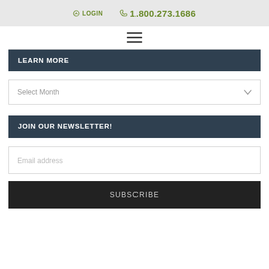LOGIN  1.800.273.1686
[Figure (other): Hamburger menu icon (three horizontal lines)]
LEARN MORE
Select Month
JOIN OUR NEWSLETTER!
Email address
SUBSCRIBE